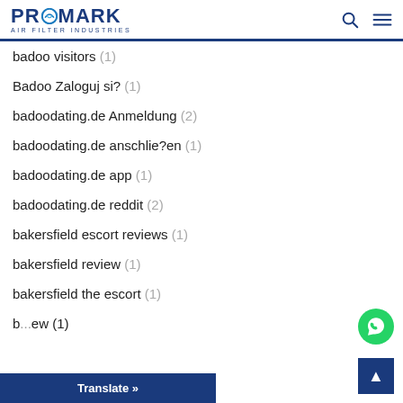PROMARK AIR FILTER INDUSTRIES
badoo visitors (1)
Badoo Zaloguj si? (1)
badoodating.de Anmeldung (2)
badoodating.de anschlie?en (1)
badoodating.de app (1)
badoodating.de reddit (2)
bakersfield escort reviews (1)
bakersfield review (1)
bakersfield the escort (1)
b...ew (1)